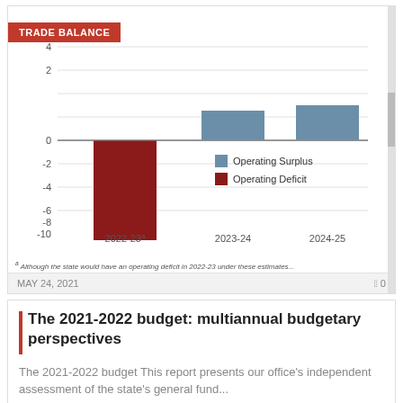[Figure (bar-chart): TRADE BALANCE]
ᵃ Although the state would have an operating deficit in 2022-23 under these estimates...
MAY 24, 2021    0
The 2021-2022 budget: multiannual budgetary perspectives
The 2021-2022 budget This report presents our office's independent assessment of the state's general fund...
[Figure (map): Partial view of a map with TRADE BALANCE label]